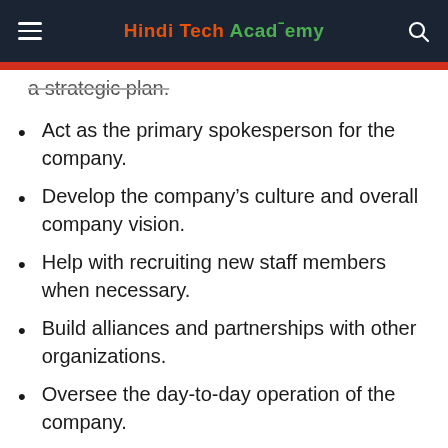Hindi Tech Academy
a strategic plan.
Act as the primary spokesperson for the company.
Develop the company’s culture and overall company vision.
Help with recruiting new staff members when necessary.
Build alliances and partnerships with other organizations.
Oversee the day-to-day operation of the company.